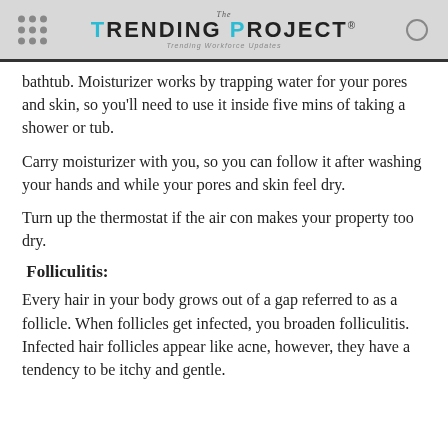The Trending Project® — Trending Workforce Updates
bathtub. Moisturizer works by trapping water for your pores and skin, so you'll need to use it inside five mins of taking a shower or tub.
Carry moisturizer with you, so you can follow it after washing your hands and while your pores and skin feel dry.
Turn up the thermostat if the air con makes your property too dry.
Folliculitis:
Every hair in your body grows out of a gap referred to as a follicle. When follicles get infected, you broaden folliculitis. Infected hair follicles appear like acne, however, they have a tendency to be itchy and gentle.